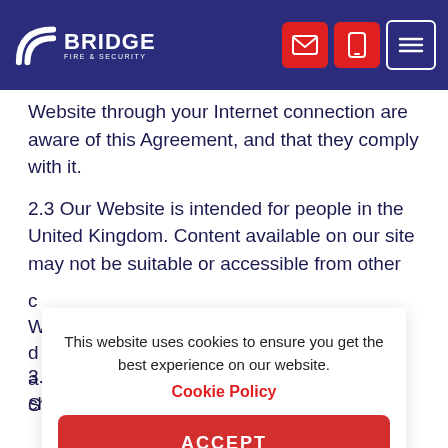[Figure (logo): Bridge Fire & Security logo with arc/arch icon in white on dark navy background, with email, phone, and menu icons in the top right]
Website through your Internet connection are aware of this Agreement, and that they comply with it.
2.3 Our Website is intended for people in the United Kingdom. Content available on our site may not be suitable or accessible from other countries.
[Figure (screenshot): Cookie consent popup overlay reading: 'This website uses cookies to ensure you get the best experience on our website. Cookie Policy' with an ACCEPT button]
3.1 Any material that is available free of charge on